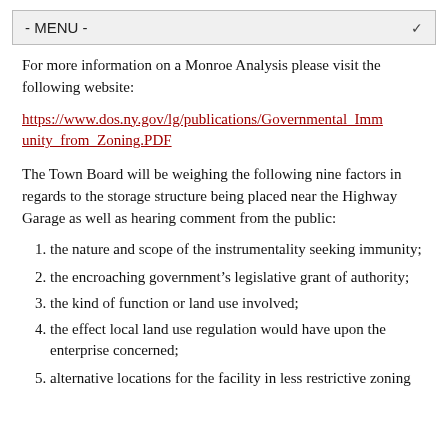- MENU -
For more information on a Monroe Analysis please visit the following website:
https://www.dos.ny.gov/lg/publications/Governmental_Immunity_from_Zoning.PDF
The Town Board will be weighing the following nine factors in regards to the storage structure being placed near the Highway Garage as well as hearing comment from the public:
the nature and scope of the instrumentality seeking immunity;
the encroaching government's legislative grant of authority;
the kind of function or land use involved;
the effect local land use regulation would have upon the enterprise concerned;
alternative locations for the facility in less restrictive zoning